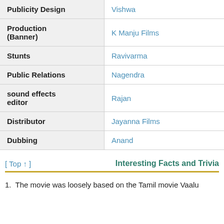| Role | Name |
| --- | --- |
| Publicity Design | Vishwa |
| Production (Banner) | K Manju Films |
| Stunts | Ravivarma |
| Public Relations | Nagendra |
| sound effects editor | Rajan |
| Distributor | Jayanna Films |
| Dubbing | Anand |
[ Top ↑ ]
Interesting Facts and Trivia
The movie was loosely based on the Tamil movie Vaalu